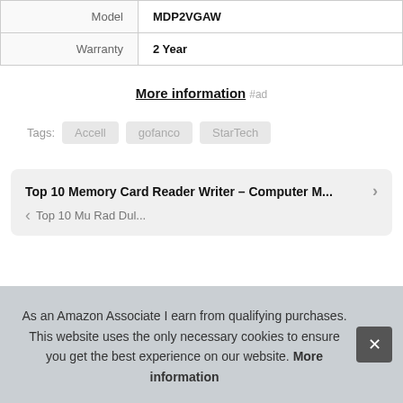|  |  |
| --- | --- |
| Model | MDP2VGAW |
| Warranty | 2 Year |
More information #ad
Tags: Accell  gofanco  StarTech
Top 10 Memory Card Reader Writer – Computer M...
Top 10 Mu Rad Dul...
As an Amazon Associate I earn from qualifying purchases. This website uses the only necessary cookies to ensure you get the best experience on our website. More information